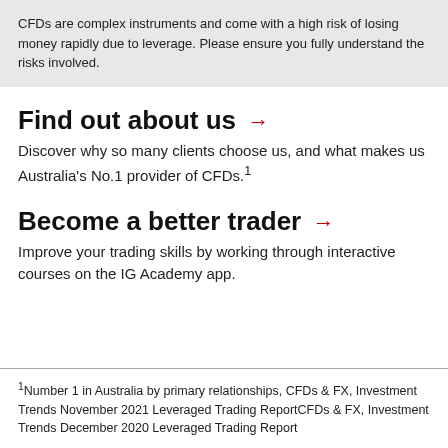CFDs are complex instruments and come with a high risk of losing money rapidly due to leverage. Please ensure you fully understand the risks involved.
Find out about us →
Discover why so many clients choose us, and what makes us Australia's No.1 provider of CFDs.¹
Become a better trader →
Improve your trading skills by working through interactive courses on the IG Academy app.
¹Number 1 in Australia by primary relationships, CFDs & FX, Investment Trends November 2021 Leveraged Trading ReportCFDs & FX, Investment Trends December 2020 Leveraged Trading Report